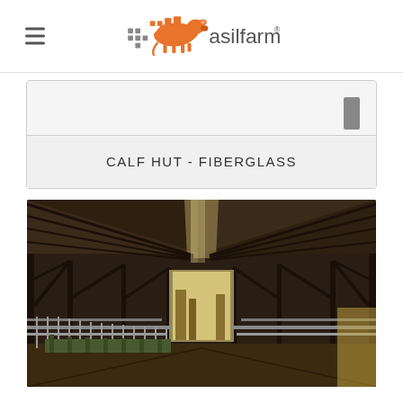asilfarm
CALF HUT - FIBERGLASS
[Figure (photo): Interior of a large agricultural barn/shed showing steel roof trusses and rafters, with rows of calf pens/stalls along both sides, bright daylight visible through openings at the far end.]